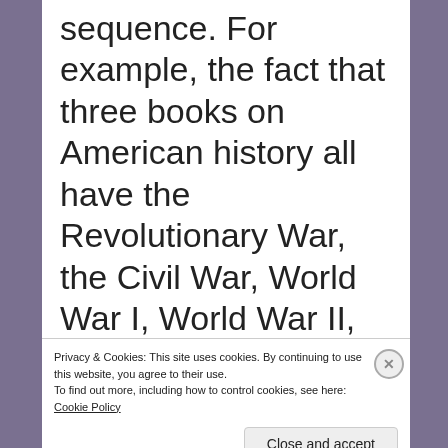sequence. For example, the fact that three books on American history all have the Revolutionary War, the Civil War, World War I, World War II, the Vietnam War, and the Gulf War in the same chronological order would not prove that the authors had read
Privacy & Cookies: This site uses cookies. By continuing to use this website, you agree to their use. To find out more, including how to control cookies, see here: Cookie Policy
Close and accept